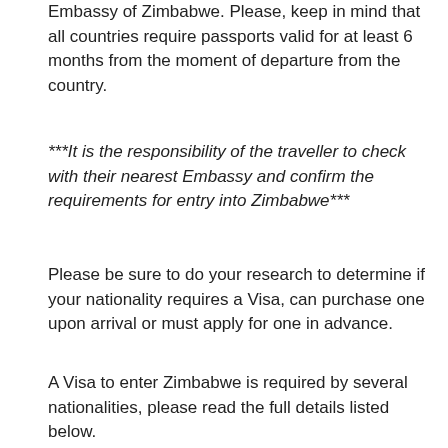Embassy of Zimbabwe. Please, keep in mind that all countries require passports valid for at least 6 months from the moment of departure from the country.
***It is the responsibility of the traveller to check with their nearest Embassy and confirm the requirements for entry into Zimbabwe***
Please be sure to do your research to determine if your nationality requires a Visa, can purchase one upon arrival or must apply for one in advance.
A Visa to enter Zimbabwe is required by several nationalities, please read the full details listed below.
There are 3 categories:
CATEGORY A:
Countries whose nationals do NOT require a Zimbabwe Visa.
Antigua & Barbuda, Angola, Aruba, Bahamas, Barbados, Belize, Botswana, Cayman Islands, Congo DRC, Cyprus, Fiji, Ghana,